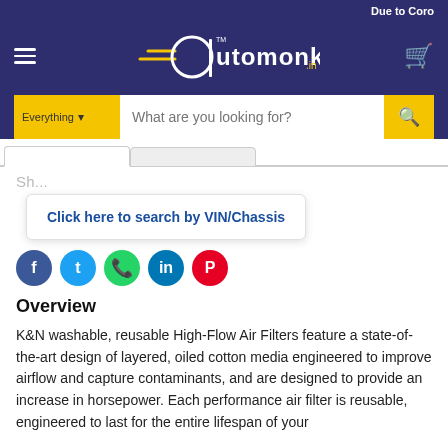Due to Coro
[Figure (logo): Automonks.in logo — stylized letter 'a' with speed lines, gold and white on navy background]
What are you looking for?
Click here to search by VIN/Chassis
Overview
K&N washable, reusable High-Flow Air Filters feature a state-of-the-art design of layered, oiled cotton media engineered to improve airflow and capture contaminants, and are designed to provide an increase in horsepower. Each performance air filter is reusable, engineered to last for the entire lifespan of your